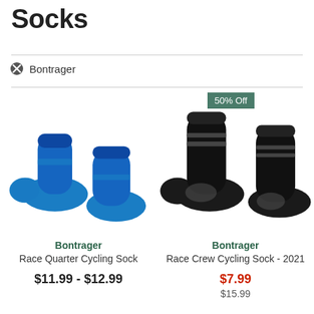Socks
Bontrager
[Figure (photo): Two blue Bontrager cycling socks displayed side by side]
Bontrager Race Quarter Cycling Sock
$11.99 - $12.99
[Figure (photo): Two black Bontrager crew cycling socks displayed side by side, with a 50% Off badge]
Bontrager Race Crew Cycling Sock - 2021
$7.99
$15.99